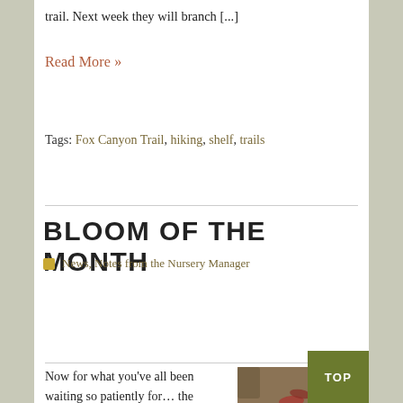trail.  Next week they will branch [...]
Read More »
Tags: Fox Canyon Trail, hiking, shelf, trails
BLOOM OF THE MONTH
News, Notes from the Nursery Manager
Now for what you've all been waiting so patiently for… the bloom of the month. Not such an easy task in September when the local color palette ranges from tan to brown to rust.  Hold on…
[Figure (photo): Outdoor photo showing low-growing reddish-green plants on a dirt/brown leaf-covered ground]
TOP